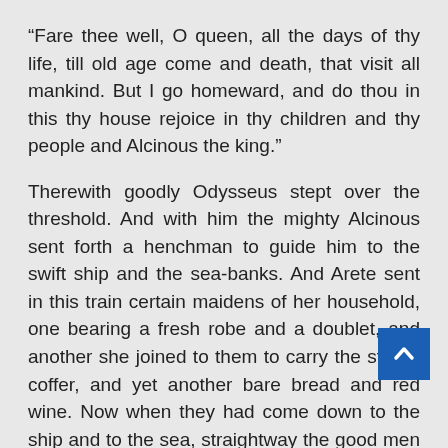“Fare thee well, O queen, all the days of thy life, till old age come and death, that visit all mankind. But I go homeward, and do thou in this thy house rejoice in thy children and thy people and Alcinous the king.”
Therewith goodly Odysseus stept over the threshold. And with him the mighty Alcinous sent forth a henchman to guide him to the swift ship and the sea-banks. And Arete sent in this train certain maidens of her household, one bearing a fresh robe and a doublet, and another she joined to them to carry the strong coffer, and yet another bare bread and red wine. Now when they had come down to the ship and to the sea, straightway the good men of the escort took these things and laid them by in the hollow ship, even all the meat and drink. Then they strewed for Odysseus a rug and a sheet of linen, on the decks of the hollow ship, in the hinder part thereof, that he might sleep sound. Then he too climbed aboard and laid him down in silence, while they sat upon the benches, every man in
[Figure (other): Blue scroll-to-top button with white upward chevron arrow, positioned at bottom-right corner of the page]